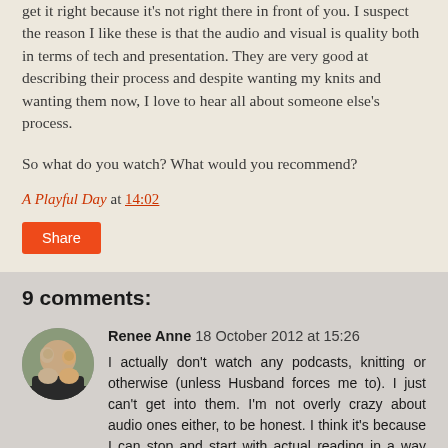get it right because it's not right there in front of you. I suspect the reason I like these is that the audio and visual is quality both in terms of tech and presentation. They are very good at describing their process and despite wanting my knits and wanting them now, I love to hear all about someone else's process.
So what do you watch? What would you recommend?
A Playful Day at 14:02
Share
9 comments:
[Figure (photo): User avatar photo of Renee Anne showing two people]
Renee Anne 18 October 2012 at 15:26
I actually don't watch any podcasts, knitting or otherwise (unless Husband forces me to). I just can't get into them. I'm not overly crazy about audio ones either, to be honest. I think it's because I can stop and start with actual reading in a way that's more difficult with podcasts. I know there are pause buttons and all!